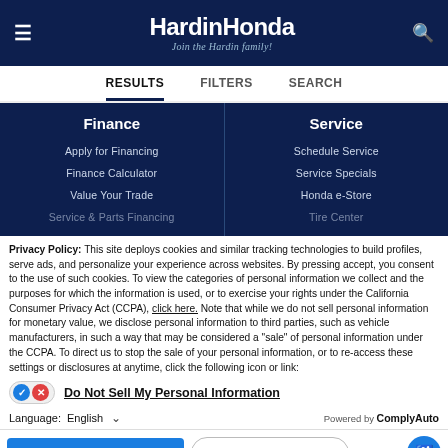HardinHonda - Join the Hardin family!
RESULTS   FILTERS   SEARCH
Finance - Apply for Financing, Finance Calculator, Value Your Trade, Service & Parts Financing
Service - Schedule Service, Service Specials, Honda e-Store, Tire Center
Privacy Policy: This site deploys cookies and similar tracking technologies to build profiles, serve ads, and personalize your experience across websites. By pressing accept, you consent to the use of such cookies. To view the categories of personal information we collect and the purposes for which the information is used, or to exercise your rights under the California Consumer Privacy Act (CCPA), click here. Note that while we do not sell personal information for monetary value, we disclose personal information to third parties, such as vehicle manufacturers, in such a way that may be considered a "sale" of personal information under the CCPA. To direct us to stop the sale of your personal information, or to re-access these settings or disclosures at anytime, click the following icon or link:
Do Not Sell My Personal Information
Language: English  Powered by ComplyAuto
ACCEPT AND CONTINUE →   California Privacy Disclosures